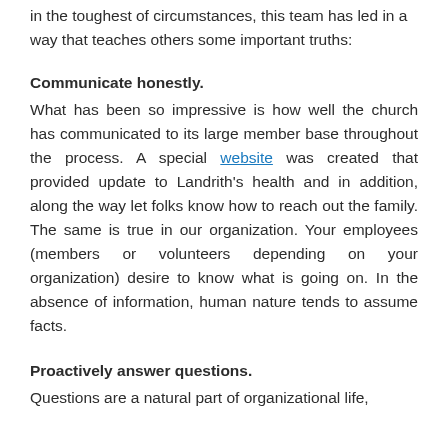in the toughest of circumstances, this team has led in a way that teaches others some important truths:
Communicate honestly.
What has been so impressive is how well the church has communicated to its large member base throughout the process.  A special website was created that provided update to Landrith's health and in addition, along the way let folks know how to reach out the family.  The same is true in our organization.  Your employees (members or volunteers depending on your organization) desire to know what is going on.  In the absence of information, human nature tends to assume facts.
Proactively answer questions.
Questions are a natural part of organizational life,